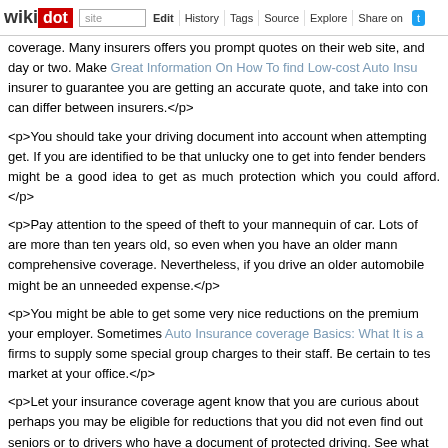wikidot | site | Edit | History | Tags | Source | Explore | Share on [Twitter]
coverage. Many insurers offers you prompt quotes on their web site, and a day or two. Make Great Information On How To find Low-cost Auto Insu insurer to guarantee you are getting an accurate quote, and take into con can differ between insurers.</p>
<p>You should take your driving document into account when attempting get. If you are identified to be that unlucky one to get into fender benders might be a good idea to get as much protection which you could afford.</p>
<p>Pay attention to the speed of theft to your mannequin of car. Lots of are more than ten years old, so even when you have an older mann comprehensive coverage. Nevertheless, if you drive an older automobile might be an unneeded expense.</p>
<p>You might be able to get some very nice reductions on the premium your employer. Sometimes Auto Insurance coverage Basics: What It is a firms to supply some special group charges to their staff. Be certain to tes market at your office.</p>
<p>Let your insurance coverage agent know that you are curious about perhaps you may be eligible for reductions that you did not even find out seniors or to drivers who have a document of protected driving. See what
<p>As unpleasant as it's to consider, there are folks out there who w occasion that you are involved in an accident, just remember to at all t plenty of photos of the accident for documentation purposes.</p>
<p>You probably have moving violations or accidents on your driving rec until they are off your driving report before purchasing for a new auto ins